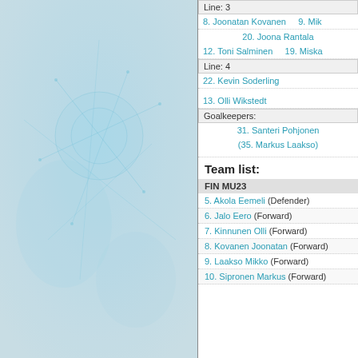[Figure (illustration): Left panel with teal/blue abstract hockey or sports illustration background]
Line: 3
8. Joonatan Kovanen    9. Mik
20. Joona Rantala
12. Toni Salminen    19. Miska
Line: 4
22. Kevin Soderling
13. Olli Wikstedt
Goalkeepers:
31. Santeri Pohjonen
(35. Markus Laakso)
Team list:
FIN MU23
5. Akola Eemeli (Defender)
6. Jalo Eero (Forward)
7. Kinnunen Olli (Forward)
8. Kovanen Joonatan (Forward)
9. Laakso Mikko (Forward)
10. Sipronen Markus (Forward)